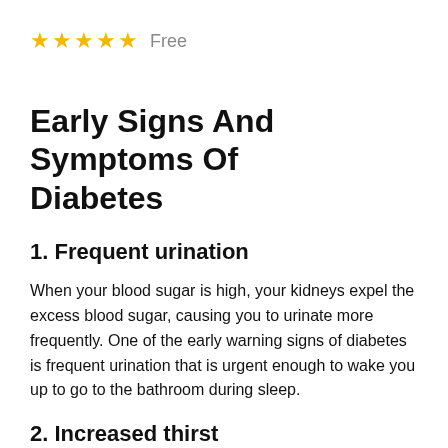★★★★★ Free
Early Signs And Symptoms Of Diabetes
1. Frequent urination
When your blood sugar is high, your kidneys expel the excess blood sugar, causing you to urinate more frequently. One of the early warning signs of diabetes is frequent urination that is urgent enough to wake you up to go to the bathroom during sleep.
2. Increased thirst